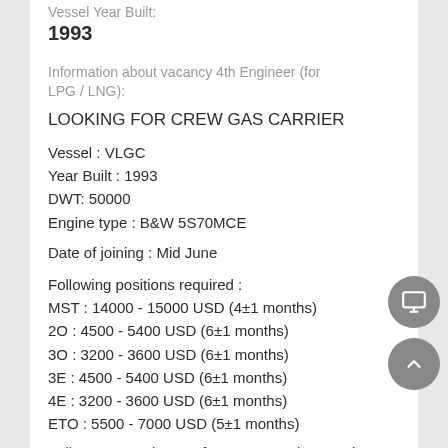Vessel Year Built:
1993
Information about vacancy 4th Engineer (for LPG / LNG):
LOOKING FOR CREW GAS CARRIER
Vessel : VLGC
Year Built : 1993
DWT: 50000
Engine type : B&W 5S70MCE
Date of joining : Mid June
Following positions required :
MST : 14000 - 15000 USD (4±1 months)
2O : 4500 - 5400 USD (6±1 months)
3O : 3200 - 3600 USD (6±1 months)
3E : 4500 - 5400 USD (6±1 months)
4E : 3200 - 3600 USD (6±1 months)
ETO : 5500 - 7000 USD (5±1 months)
Follow us on Telegram for most actual vacancies